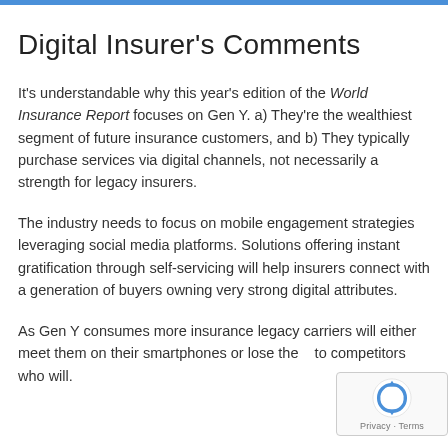Digital Insurer's Comments
It's understandable why this year's edition of the World Insurance Report focuses on Gen Y. a) They're the wealthiest segment of future insurance customers, and b) They typically purchase services via digital channels, not necessarily a strength for legacy insurers.
The industry needs to focus on mobile engagement strategies leveraging social media platforms. Solutions offering instant gratification through self-servicing will help insurers connect with a generation of buyers owning very strong digital attributes.
As Gen Y consumes more insurance legacy carriers will either meet them on their smartphones or lose them to competitors who will.